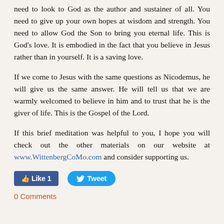need to look to God as the author and sustainer of all. You need to give up your own hopes at wisdom and strength. You need to allow God the Son to bring you eternal life. This is God's love. It is embodied in the fact that you believe in Jesus rather than in yourself. It is a saving love.
If we come to Jesus with the same questions as Nicodemus, he will give us the same answer. He will tell us that we are warmly welcomed to believe in him and to trust that he is the giver of life. This is the Gospel of the Lord.
If this brief meditation was helpful to you, I hope you will check out the other materials on our website at www.WittenbergCoMo.com and consider supporting us.
[Figure (other): Facebook Like button showing 'Like 1' and Twitter Tweet button]
0 Comments